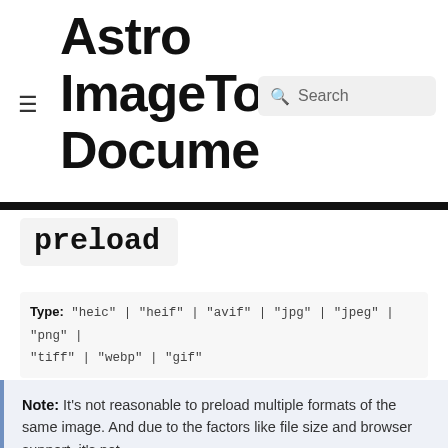Astro ImageTo Docume
preload
Type: "heic" | "heif" | "avif" | "jpg" | "jpeg" | "png" | "tiff" | "webp" | "gif"
Default: undefined
Which format of image set to preload.
Note: It's not reasonable to preload multiple formats of the same image. And due to the factors like file size and browser support, it's not